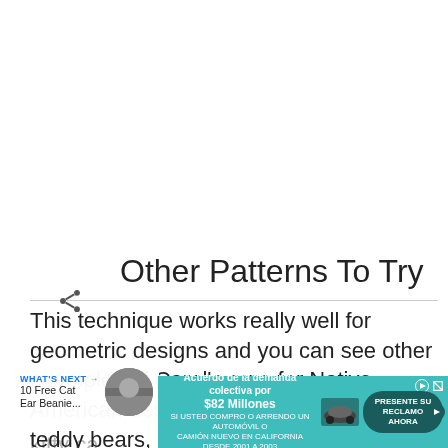[Figure (infographic): Floating blue circle button with white heart icon and share icon, with save count '448']
Other Patterns To Try
This technique works really well for geometric designs and you can see other examples of Carol's patterns for Native American designs, hearts, diamonds, teddy bears, choo-choo trains, kitty ca...
[Figure (infographic): WHAT'S NEXT panel showing '10 Free Cat Ear Beanie...' with thumbnail image]
[Figure (infographic): Advertisement banner: 'Acuerdo de la demanda colectiva por $82 Millones' with 'PRESENTE SU RECLAMO AHORA' CTA button]